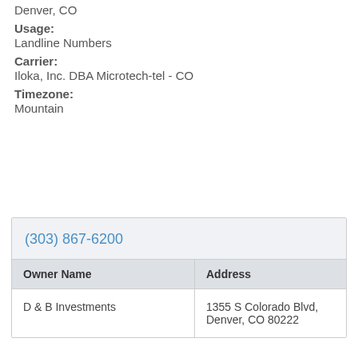Denver, CO
Usage:
Landline Numbers
Carrier:
Iloka, Inc. DBA Microtech-tel - CO
Timezone:
Mountain
| Owner Name | Address |
| --- | --- |
| D & B Investments | 1355 S Colorado Blvd, Denver, CO 80222 |